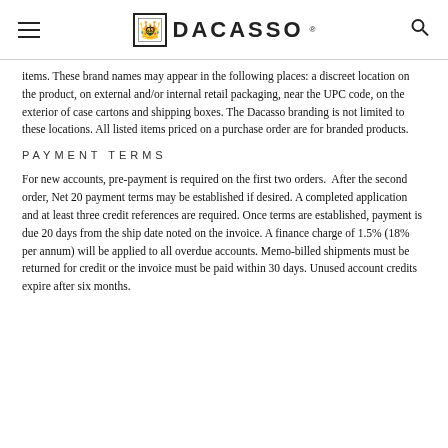DACASSO
items. These brand names may appear in the following places: a discreet location on the product, on external and/or internal retail packaging, near the UPC code, on the exterior of case cartons and shipping boxes. The Dacasso branding is not limited to these locations. All listed items priced on a purchase order are for branded products.
PAYMENT TERMS
For new accounts, pre-payment is required on the first two orders. After the second order, Net 20 payment terms may be established if desired. A completed application and at least three credit references are required. Once terms are established, payment is due 20 days from the ship date noted on the invoice. A finance charge of 1.5% (18% per annum) will be applied to all overdue accounts. Memo-billed shipments must be returned for credit or the invoice must be paid within 30 days. Unused account credits expire after six months.